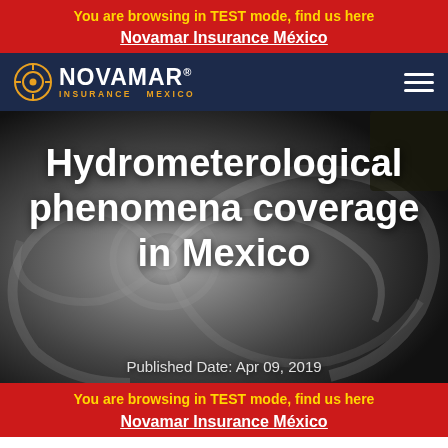You are browsing in TEST mode, find us here
Novamar Insurance México
[Figure (logo): Novamar Insurance Mexico logo with orange sun icon on dark navy navigation bar with hamburger menu icon]
[Figure (photo): Satellite aerial view of a hurricane/tropical storm in black and white, viewed from above showing spiral cloud bands]
Hydrometerological phenomena coverage in Mexico
Published Date: Apr 09, 2019
You are browsing in TEST mode, find us here
Novamar Insurance México